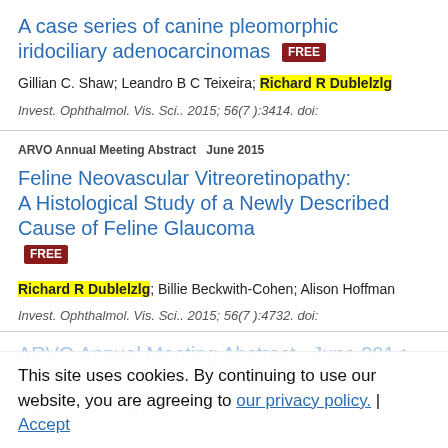A case series of canine pleomorphic iridociliary adenocarcinomas FREE
Gillian C. Shaw; Leandro B C Teixeira; Richard R Dubielzig
Invest. Ophthalmol. Vis. Sci.. 2015; 56(7 ):3414. doi:
ARVO Annual Meeting Abstract   June 2015
Feline Neovascular Vitreoretinopathy: A Histological Study of a Newly Described Cause of Feline Glaucoma FREE
Richard R Dubielzig; Billie Beckwith-Cohen; Alison Hoffman
Invest. Ophthalmol. Vis. Sci.. 2015; 56(7 ):4732. doi:
This site uses cookies. By continuing to use our website, you are agreeing to our privacy policy. Accept